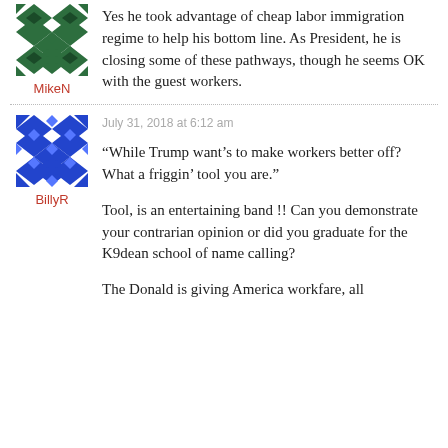[Figure (illustration): Green geometric quilt/diamond pattern avatar for user MikeN]
MikeN
Yes he took advantage of cheap labor immigration regime to help his bottom line. As President, he is closing some of these pathways, though he seems OK with the guest workers.
[Figure (illustration): Blue geometric quilt/diamond pattern avatar for user BillyR]
BillyR
July 31, 2018 at 6:12 am
“While Trump want’s to make workers better off? What a friggin’ tool you are.”
Tool, is an entertaining band !! Can you demonstrate your contrarian opinion or did you graduate for the K9dean school of name calling?
The Donald is giving America workfare, all